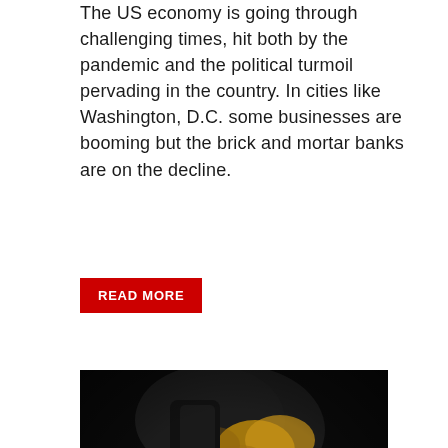The US economy is going through challenging times, hit both by the pandemic and the political turmoil pervading in the country. In cities like Washington, D.C. some businesses are booming but the brick and mortar banks are on the decline.
READ MORE
[Figure (photo): Close-up photograph of a industrial cutting or welding tool with sparks flying on a dark metal surface. A gloved hand in black and yellow leather glove holds the tool. Bright orange sparks and glowing embers visible against a dark background.]